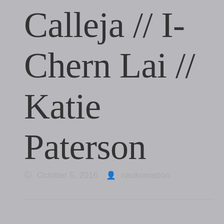Calleja // I-Chern Lai // Katie Paterson
October 5, 2016  naokomabon